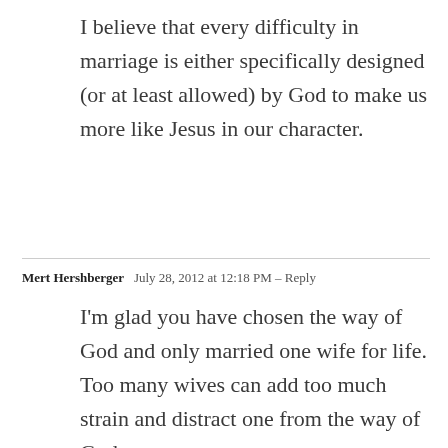I believe that every difficulty in marriage is either specifically designed (or at least allowed) by God to make us more like Jesus in our character.
Mert Hershberger   July 28, 2012 at 12:18 PM - Reply
I'm glad you have chosen the way of God and only married one wife for life. Too many wives can add too much strain and distract one from the way of God.